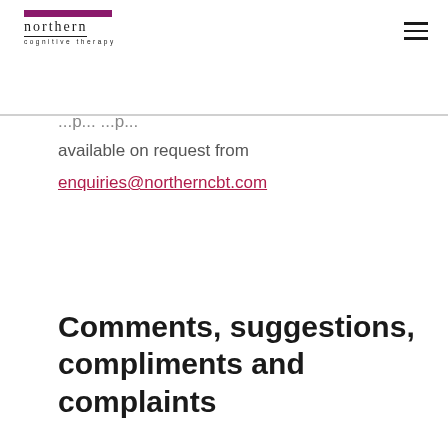northern cognitive therapy
available on request from enquiries@northerncbt.com
Comments, suggestions, compliments and complaints